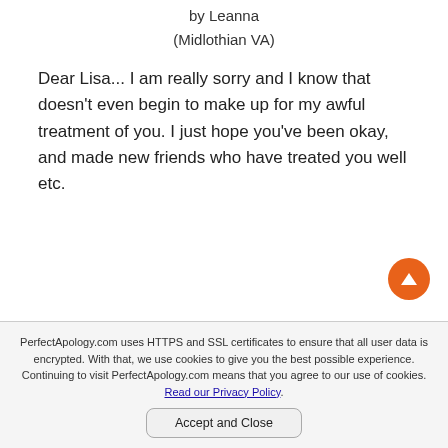by Leanna
(Midlothian VA)
Dear Lisa... I am really sorry and I know that doesn't even begin to make up for my awful treatment of you. I just hope you've been okay, and made new friends who have treated you well etc.
PerfectApology.com uses HTTPS and SSL certificates to ensure that all user data is encrypted. With that, we use cookies to give you the best possible experience. Continuing to visit PerfectApology.com means that you agree to our use of cookies. Read our Privacy Policy.
Accept and Close